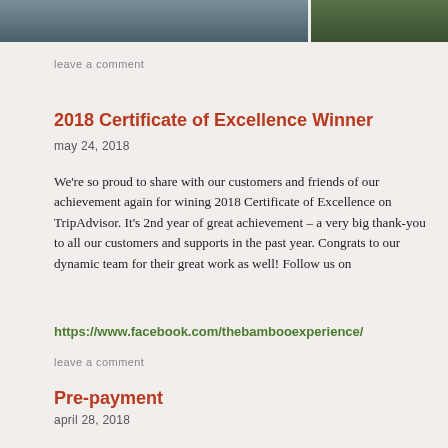[Figure (photo): Two photos side by side at top of page: left shows people in an outdoor/field setting with blue/brown tones; right shows greenery/plants with a sign.]
leave a comment
2018 Certificate of Excellence Winner
may 24, 2018
We're so proud to share with our customers and friends of our achievement again for wining 2018 Certificate of Excellence on TripAdvisor. It's 2nd year of great achievement – a very big thank-you to all our customers and supports in the past year. Congrats to our dynamic team for their great work as well! Follow us on
https://www.facebook.com/thebambooexperience/
leave a comment
Pre-payment
april 28, 2018
Dear Clients and partners,
We're pleased to announce that pre-paid online via PayPal is now available